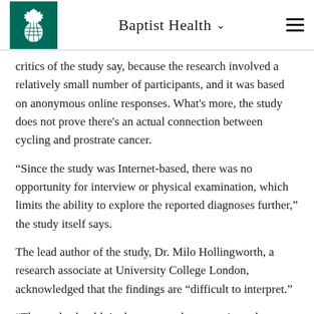Baptist Health
critics of the study say, because the research involved a relatively small number of participants, and it was based on anonymous online responses. What's more, the study does not prove there's an actual connection between cycling and prostrate cancer.
“Since the study was Internet-based, there was no opportunity for interview or physical examination, which limits the ability to explore the reported diagnoses further,” the study itself says.
The lead author of the study, Dr. Milo Hollingworth, a research associate at University College London, acknowledged that the findings are “difficult to interpret.”
“The study shouldn’t alarm men who are serious about cycling and are staying in good overall health,” said